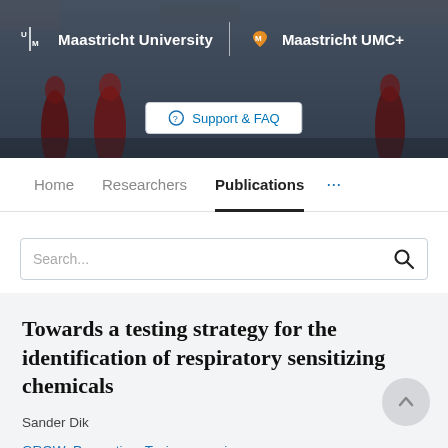[Figure (screenshot): Maastricht University and Maastricht UMC+ header banner with academic figures in background, showing logos and Support & FAQ button]
Maastricht University | Maastricht UMC+
Support & FAQ
Home   Researchers   Publications   ...
Search...
Towards a testing strategy for the identification of respiratory sensitizing chemicals
Sander Dik
GROW  Prevention  Toxicogenomics